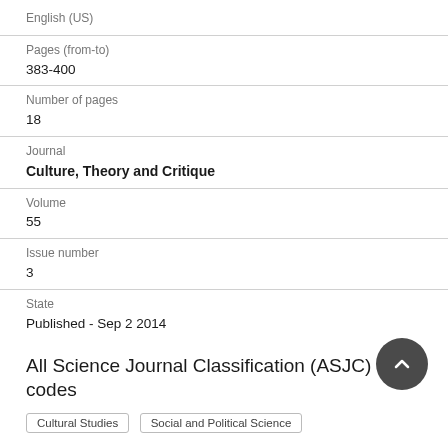English (US)
Pages (from-to)
383-400
Number of pages
18
Journal
Culture, Theory and Critique
Volume
55
Issue number
3
State
Published - Sep 2 2014
All Science Journal Classification (ASJC) codes
Cultural Studies   Social and Political Science